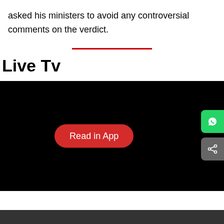asked his ministers to avoid any controversial comments on the verdict.
[Figure (other): Red horizontal divider line]
Live Tv
[Figure (screenshot): Black video player area with a red 'Read in App' button centered, and WhatsApp and share buttons on the right edge]